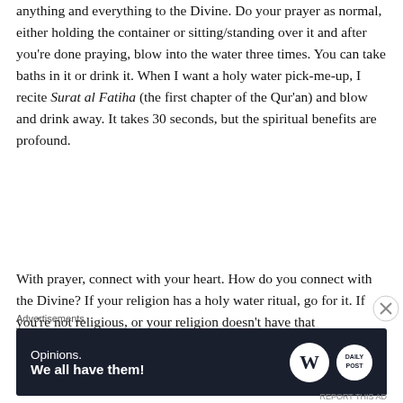anything and everything to the Divine. Do your prayer as normal, either holding the container or sitting/standing over it and after you're done praying, blow into the water three times. You can take baths in it or drink it. When I want a holy water pick-me-up, I recite Surat al Fatiha (the first chapter of the Qur'an) and blow and drink away. It takes 30 seconds, but the spiritual benefits are profound.
With prayer, connect with your heart. How do you connect with the Divine? If your religion has a holy water ritual, go for it. If you're not religious, or your religion doesn't have that
Advertisements
[Figure (other): Advertisement banner with dark navy background. Left side shows text 'Opinions. We all have them!' in white. Right side shows WordPress logo (white W in circle) and Daily Post logo (white text on white circle).]